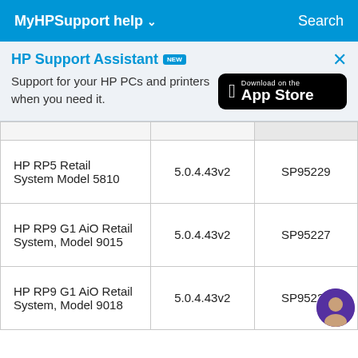MyHPSupport help ∨   Search
[Figure (screenshot): HP Support Assistant banner with NEW badge, tagline 'Support for your HP PCs and printers when you need it.' and Download on the App Store button]
| HP RP5 Retail System Model 5810 | 5.0.4.43v2 | SP95229 |
| HP RP9 G1 AiO Retail System, Model 9015 | 5.0.4.43v2 | SP95227 |
| HP RP9 G1 AiO Retail System, Model 9018 | 5.0.4.43v2 | SP95227 |